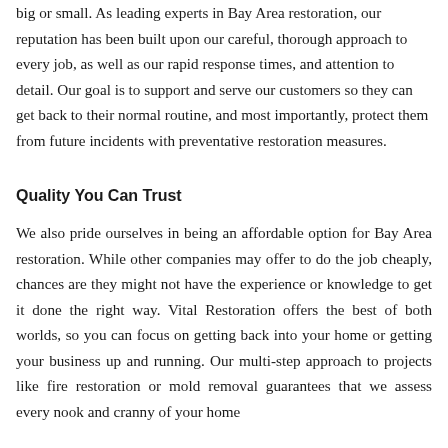big or small. As leading experts in Bay Area restoration, our reputation has been built upon our careful, thorough approach to every job, as well as our rapid response times, and attention to detail. Our goal is to support and serve our customers so they can get back to their normal routine, and most importantly, protect them from future incidents with preventative restoration measures.
Quality You Can Trust
We also pride ourselves in being an affordable option for Bay Area restoration. While other companies may offer to do the job cheaply, chances are they might not have the experience or knowledge to get it done the right way. Vital Restoration offers the best of both worlds, so you can focus on getting back into your home or getting your business up and running. Our multi-step approach to projects like fire restoration or mold removal guarantees that we assess every nook and cranny of your home